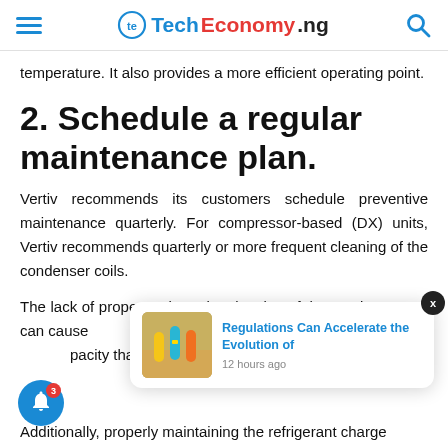TechEconomy.ng
temperature. It also provides a more efficient operating point.
2. Schedule a regular maintenance plan.
Vertiv recommends its customers schedule preventive maintenance quarterly. For compressor-based (DX) units, Vertiv recommends quarterly or more frequent cleaning of the condenser coils.
The lack of proper and regular cleaning of the condenser coil can cause … pacity tha…
[Figure (infographic): Notification popup showing 'Regulations Can Accelerate the Evolution of' with timestamp '12 hours ago' and a thumbnail image of colorful tubes/cylinders]
Additionally, properly maintaining the refrigerant charge